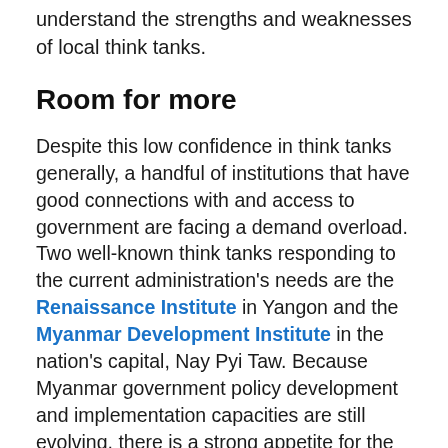understand the strengths and weaknesses of local think tanks.
Room for more
Despite this low confidence in think tanks generally, a handful of institutions that have good connections with and access to government are facing a demand overload. Two well-known think tanks responding to the current administration's needs are the Renaissance Institute in Yangon and the Myanmar Development Institute in the nation's capital, Nay Pyi Taw. Because Myanmar government policy development and implementation capacities are still evolving, there is a strong appetite for the work of these two institutions.
The use of an evidence-informed approach to